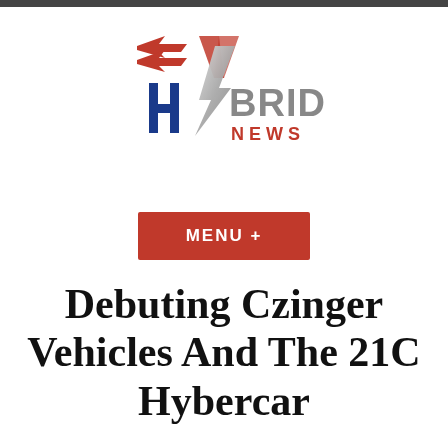[Figure (logo): EV Hybrid News logo with red lightning bolt EV mark, blue H, silver lightning bolt as Y in HYBRID, gray BRID text, and red NEWS text]
MENU +
Debuting Czinger Vehicles And The 21C Hybercar